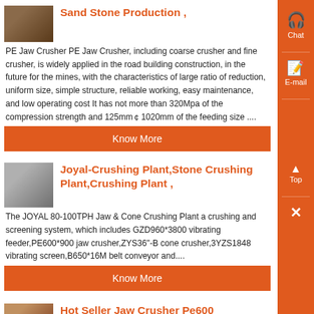[Figure (photo): Thumbnail photo of sand stone production machinery]
Sand Stone Production ,
PE Jaw Crusher PE Jaw Crusher, including coarse crusher and fine crusher, is widely applied in the road building construction, in the future for the mines, with the characteristics of large ratio of reduction, uniform size, simple structure, reliable working, easy maintenance, and low operating cost It has not more than 320Mpa of the compression strength and 125mm￠1020mm of the feeding size ....
Know More
[Figure (photo): Thumbnail photo of stone crushing plant machinery]
Joyal-Crushing Plant,Stone Crushing Plant,Crushing Plant ,
The JOYAL 80-100TPH Jaw & Cone Crushing Plant a crushing and screening system, which includes GZD960*3800 vibrating feeder,PE600*900 jaw crusher,ZYS36"-B cone crusher,3YZS1848 vibrating screen,B650*16M belt conveyor and....
Know More
[Figure (photo): Thumbnail photo of jaw crusher]
Hot Seller Jaw Crusher Pe600